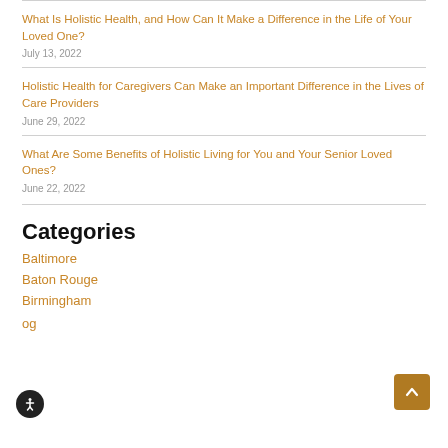What Is Holistic Health, and How Can It Make a Difference in the Life of Your Loved One?
July 13, 2022
Holistic Health for Caregivers Can Make an Important Difference in the Lives of Care Providers
June 29, 2022
What Are Some Benefits of Holistic Living for You and Your Senior Loved Ones?
June 22, 2022
Categories
Baltimore
Baton Rouge
Birmingham
og